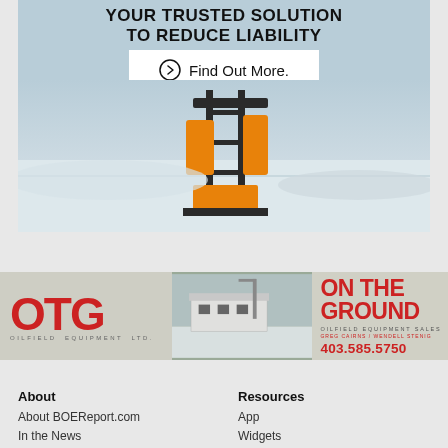[Figure (illustration): Top advertisement banner with light blue/grey background showing a pump jack in a snowy oilfield setting. Large bold headline text 'YOUR TRUSTED SOLUTION TO REDUCE LIABILITY' and a white button with circle-arrow icon saying 'Find Out More.']
[Figure (illustration): OTG Oilfield Equipment Ltd advertisement banner. Left section shows 'OTG' logo in red with 'OILFIELD EQUIPMENT LTD' below. Center shows photo of white industrial building/equipment in snow. Right section shows 'ON THE GROUND' in bold red, 'OILFIELD EQUIPMENT SALES', 'GREG CAIRNS / WENDELL STENIG', and phone number '403.585.5750' in red.]
About
About BOEReport.com
In the News
Resources
App
Widgets